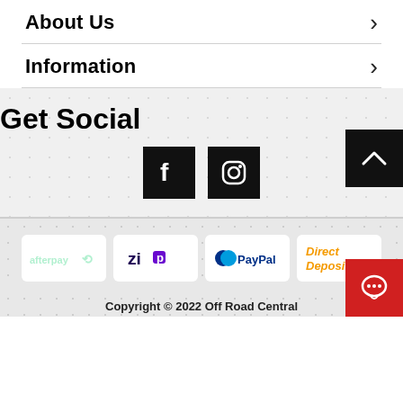About Us
Information
Get Social
[Figure (illustration): Facebook and Instagram social media icons (white on black square backgrounds)]
[Figure (illustration): Payment method logos: afterpay, Zip, PayPal, Direct Deposit]
Copyright © 2022 Off Road Central